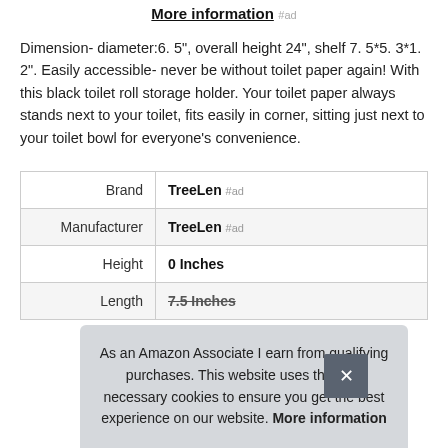More information #ad
Dimension- diameter:6. 5", overall height 24", shelf 7. 5*5. 3*1. 2". Easily accessible- never be without toilet paper again! With this black toilet roll storage holder. Your toilet paper always stands next to your toilet, fits easily in corner, sitting just next to your toilet bowl for everyone’s convenience.
|  |  |
| --- | --- |
| Brand | TreeLen #ad |
| Manufacturer | TreeLen #ad |
| Height | 0 Inches |
| Length | 7.5 Inches |
As an Amazon Associate I earn from qualifying purchases. This website uses the only necessary cookies to ensure you get the best experience on our website. More information